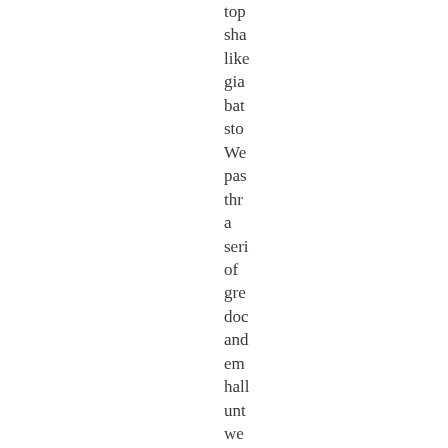top sha like gia bat sto We pas thr a seri of gre doc and em hall unt we rea the smi face of